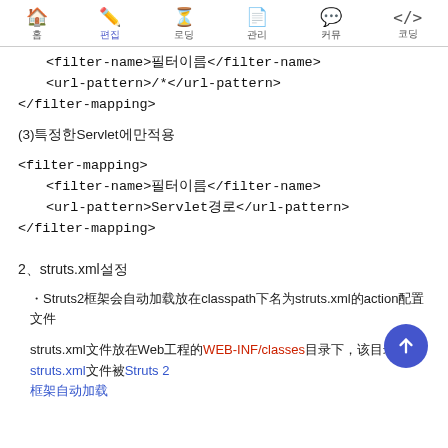홈 편집 로딩 관리 커뮤니티 코딩
<filter-name>필터이름</filter-name>
    <url-pattern>/*</url-pattern>
</filter-mapping>
(3)특정한Servlet에만적용
<filter-mapping>
    <filter-name>필터이름</filter-name>
    <url-pattern>Servlet경로</url-pattern>
</filter-mapping>
2、struts.xml설정
・Struts2框架会自动加载放在classpath下名为struts.xml的action配置文件
struts.xml文件放在Web工程的WEB-INF/classes目录下，该目录下的struts.xml文件被Struts 2框架自动加载